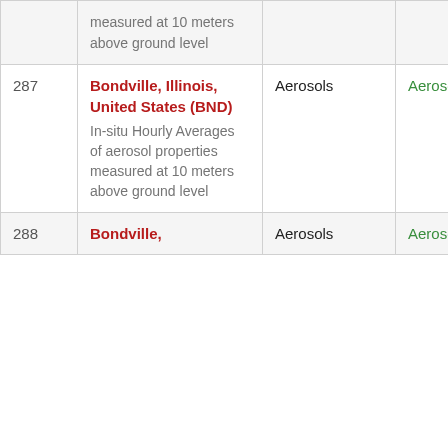| # | Name / Description | Category | Category 2 |  |
| --- | --- | --- | --- | --- |
|  | measured at 10 meters above ground level |  |  |  |
| 287 | Bondville, Illinois, United States (BND)
In-situ Hourly Averages of aerosol properties measured at 10 meters above ground level | Aerosols | Aerosols |  |
| 288 | Bondville, | Aerosols | Aerosols |  |